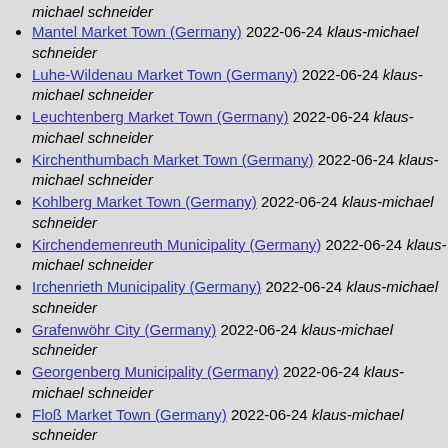michael schneider
Mantel Market Town (Germany) 2022-06-24 klaus-michael schneider
Luhe-Wildenau Market Town (Germany) 2022-06-24 klaus-michael schneider
Leuchtenberg Market Town (Germany) 2022-06-24 klaus-michael schneider
Kirchenthumbach Market Town (Germany) 2022-06-24 klaus-michael schneider
Kohlberg Market Town (Germany) 2022-06-24 klaus-michael schneider
Kirchendemenreuth Municipality (Germany) 2022-06-24 klaus-michael schneider
Irchenrieth Municipality (Germany) 2022-06-24 klaus-michael schneider
Grafenwöhr City (Germany) 2022-06-24 klaus-michael schneider
Georgenberg Municipality (Germany) 2022-06-24 klaus-michael schneider
Floß Market Town (Germany) 2022-06-24 klaus-michael schneider
Flossenbürg Municipality (Germany) 2022-06-24 klaus-michael schneider
Etzenricht Municipality (Germany) 2022-06-24 klaus-michael schneider